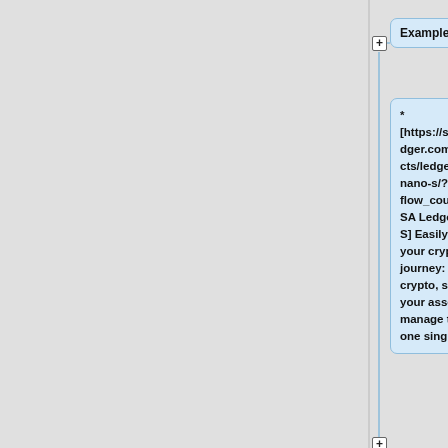Examples:
* [https://shop.ledger.com/products/ledger-nano-s/?flow_country=USA Ledger Nano S] Easily start your crypto journey: buy crypto, secure your assets and manage them in one single-app.
===Native Apps===
# The primary